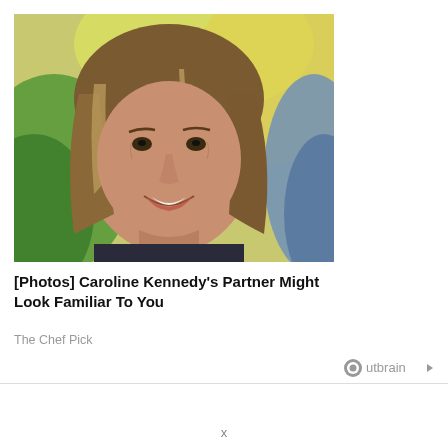[Figure (photo): Photo of a smiling middle-aged woman with medium-length blonde-brown hair, outdoors with blurred green and yellow background, and partially visible person in blue clothing on the right.]
[Photos] Caroline Kennedy's Partner Might Look Familiar To You
The Chef Pick
[Figure (logo): Outbrain logo with circular icon and play triangle]